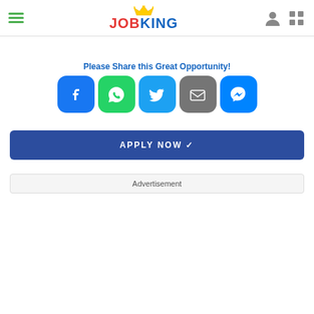JOBKING
Please Share this Great Opportunity!
[Figure (infographic): Social share buttons row: Facebook, WhatsApp, Twitter, Email, Messenger]
APPLY NOW ✓
Advertisement